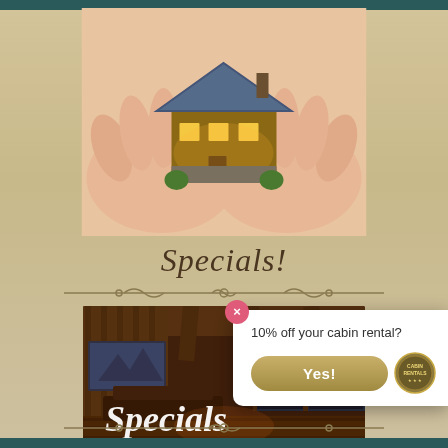[Figure (photo): Hands cupping a miniature cabin/house model with warm glowing lights, photographed against a light background]
Specials!
[Figure (photo): Interior of a luxury log cabin with exposed wooden beams, large TV, stone fireplace, and large windows showing a night view. Text overlay reads 'Specials']
[Figure (screenshot): Popup overlay with close button (pink X), text '10% off your cabin rental?', a gold 'Yes!' button, and a circular cabin rentals logo badge]